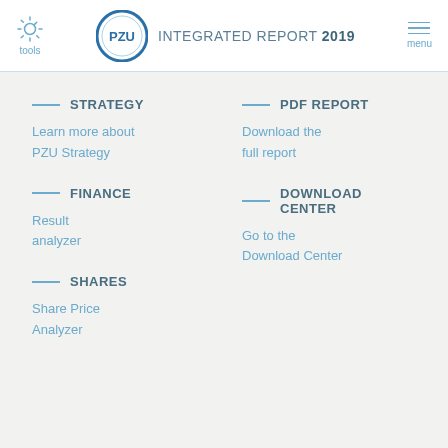tools | PZU INTEGRATED REPORT 2019 | menu
STRATEGY
Learn more about PZU Strategy
PDF REPORT
Download the full report
FINANCE
Result analyzer
DOWNLOAD CENTER
Go to the Download Center
SHARES
Share Price Analyzer